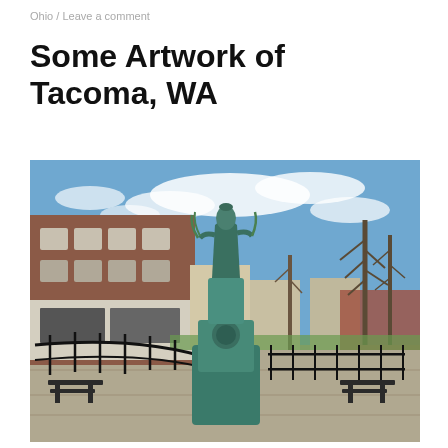Ohio / Leave a comment
Some Artwork of Tacoma, WA
[Figure (photo): A bronze statue of a female figure holding wheat or flora, standing on a large ornate pedestal with teal-green patina, set in a paved plaza with black iron railings, benches, a brick multi-story building on the left, bare trees on the right, and a partly cloudy blue sky in the background. Location: Tacoma, WA.]